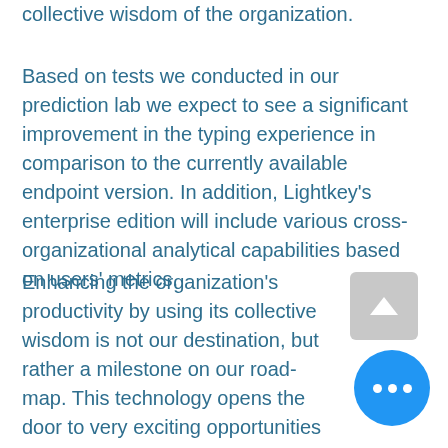collective wisdom of the organization.
Based on tests we conducted in our prediction lab we expect to see a significant improvement in the typing experience in comparison to the currently available endpoint version. In addition, Lightkey's enterprise edition will include various cross-organizational analytical capabilities based on users' metrics.
Enhancing the organization's productivity by using its collective wisdom is not our destination, but rather a milestone on our road-map. This technology opens the door to very exciting opportunities in organizational productivity that have